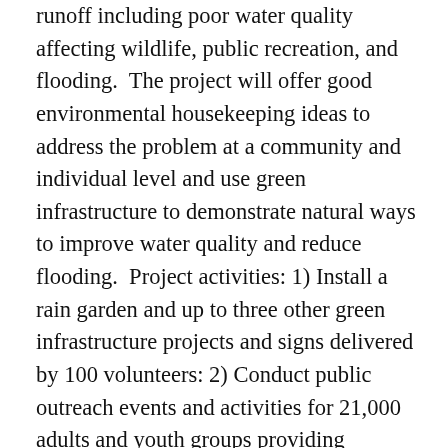runoff including poor water quality affecting wildlife, public recreation, and flooding.  The project will offer good environmental housekeeping ideas to address the problem at a community and individual level and use green infrastructure to demonstrate natural ways to improve water quality and reduce flooding.  Project activities: 1) Install a rain garden and up to three other green infrastructure projects and signs delivered by 100 volunteers: 2) Conduct public outreach events and activities for 21,000 adults and youth groups providing education about stormwater problems via six workshops, one green infrastructure tour, two field trips, two festivals, and social media.  The outreach will present stormwater reduction topics including organic lawn care, disconnecting downspouts at home, and river-friendly